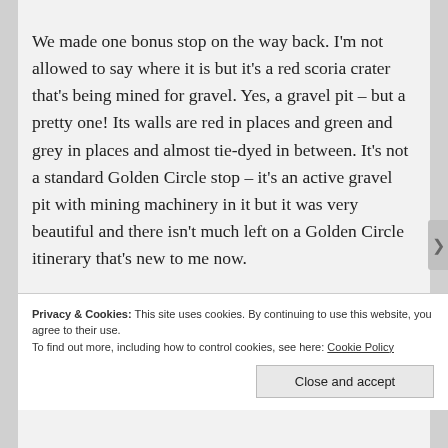We made one bonus stop on the way back. I'm not allowed to say where it is but it's a red scoria crater that's being mined for gravel. Yes, a gravel pit – but a pretty one! Its walls are red in places and green and grey in places and almost tie-dyed in between. It's not a standard Golden Circle stop – it's an active gravel pit with mining machinery in it but it was very beautiful and there isn't much left on a Golden Circle itinerary that's new to me now.
Privacy & Cookies: This site uses cookies. By continuing to use this website, you agree to their use.
To find out more, including how to control cookies, see here: Cookie Policy
Close and accept